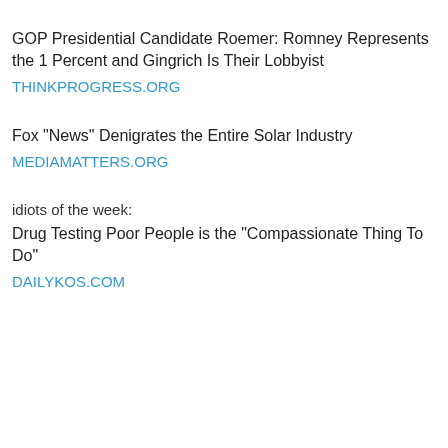GOP Presidential Candidate Roemer: Romney Represents the 1 Percent and Gingrich Is Their Lobbyist
THINKPROGRESS.ORG
Fox "News" Denigrates the Entire Solar Industry
MEDIAMATTERS.ORG
idiots of the week:
Drug Testing Poor People is the "Compassionate Thing To Do"
DAILYKOS.COM